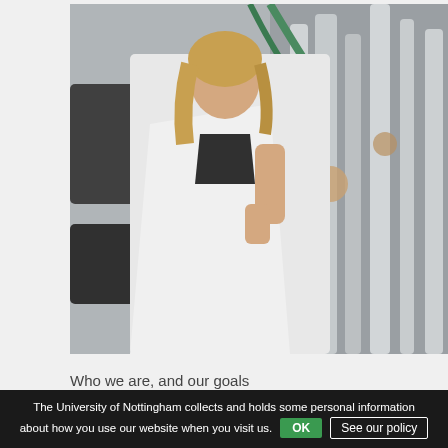[Figure (photo): Researcher in white lab coat working with scientific equipment - metal pipes and valves in a laboratory setting]
Who we are, and our goals
Research themes
[Figure (photo): Close-up of scientific/optical equipment with blue metallic spheres and gold metallic components in center, possibly an electron gun or laser apparatus]
The University of Nottingham collects and holds some personal information about how you use our website when you visit us. OK  See our policy